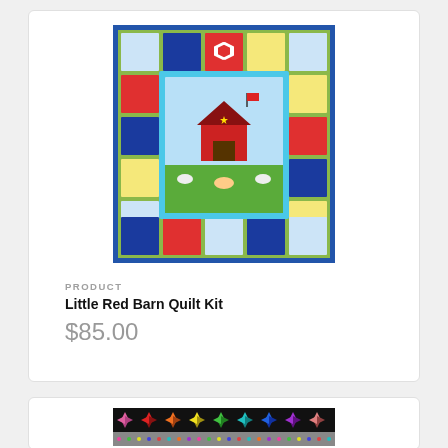[Figure (photo): A colorful patchwork quilt called Little Red Barn Quilt Kit, featuring a central farm scene with a red barn, animals, and surrounded by various patterned fabric squares in blue, red, green, and yellow.]
PRODUCT
Little Red Barn Quilt Kit
$85.00
[Figure (photo): Partial view of a pinwheel quilt pattern with colorful star/pinwheel blocks on black background, and a strip of multi-colored dotted fabric below.]